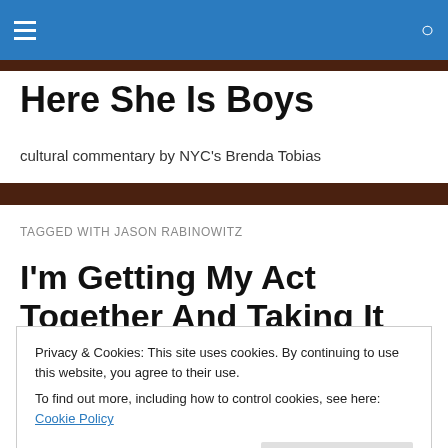Here She Is Boys — navigation bar with hamburger menu and search icon
Here She Is Boys
cultural commentary by NYC's Brenda Tobias
TAGGED WITH JASON RABINOWITZ
I'm Getting My Act Together And Taking It On The Road –
Privacy & Cookies: This site uses cookies. By continuing to use this website, you agree to their use.
To find out more, including how to control cookies, see here: Cookie Policy
Close and accept